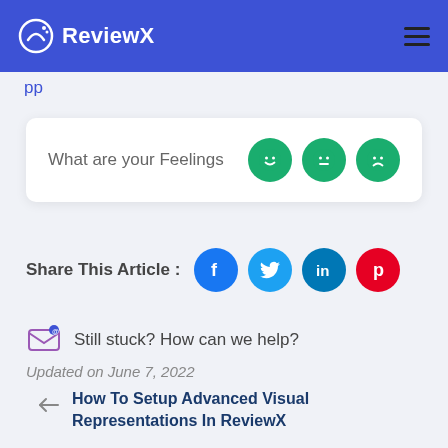ReviewX
pp
What are your Feelings
Share This Article :
Still stuck? How can we help?
Updated on June 7, 2022
How To Setup Advanced Visual Representations In ReviewX